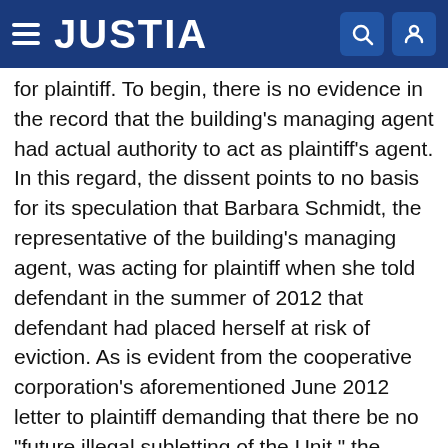JUSTIA
for plaintiff. To begin, there is no evidence in the record that the building's managing agent had actual authority to act as plaintiff's agent. In this regard, the dissent points to no basis for its speculation that Barbara Schmidt, the representative of the building's managing agent, was acting for plaintiff when she told defendant in the summer of 2012 that defendant had placed herself at risk of eviction. As is evident from the cooperative corporation's aforementioned June 2012 letter to plaintiff demanding that there be no "future illegal subletting of the Unit," the cooperative corporation had an independent interest in the cessation of defendant's Airbnb subletting, which was contrary to the interests of the building's other permanent residents. As to apparent authority, the applicability of that doctrine "depends upon a factual showing that the third party